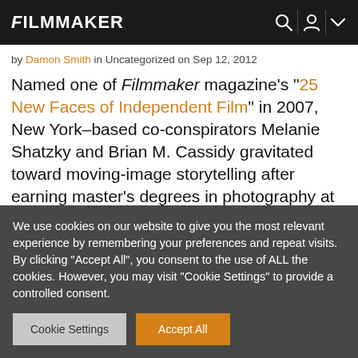FILMMAKER
by Damon Smith in Uncategorized on Sep 12, 2012
Named one of Filmmaker magazine's “25 New Faces of Independent Film” in 2007, New York–based co-conspirators Melanie Shatzky and Brian M. Cassidy gravitated toward moving-image storytelling after earning master’s degrees in photography at the School of Visual Arts. Exploring the porous borders between narrative and nonfiction, while importing many of the
We use cookies on our website to give you the most relevant experience by remembering your preferences and repeat visits. By clicking “Accept All”, you consent to the use of ALL the cookies. However, you may visit "Cookie Settings" to provide a controlled consent.